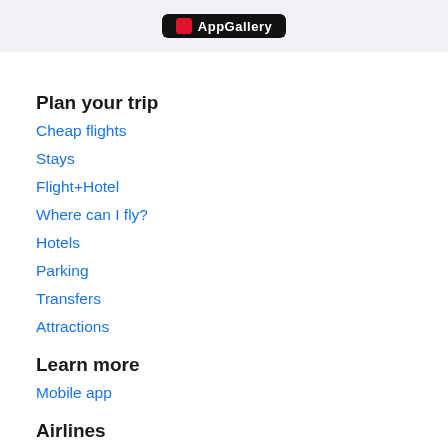[Figure (logo): App Gallery badge on dark background banner]
Plan your trip
Cheap flights
Stays
Flight+Hotel
Where can I fly?
Hotels
Parking
Transfers
Attractions
Learn more
Mobile app
Airlines